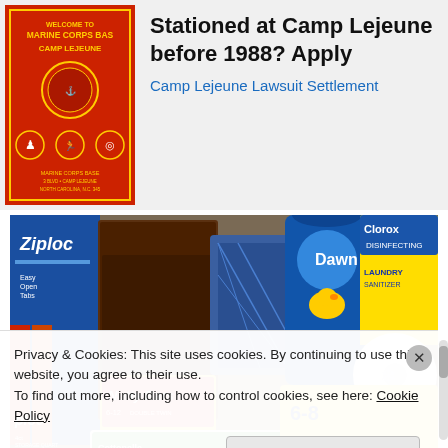[Figure (photo): Red Marine Corps Base Camp Lejeune welcome sign with emblems on a red background]
Stationed at Camp Lejeune before 1988? Apply
Camp Lejeune Lawsuit Settlement
[Figure (photo): Photo of household products including Ziploc bags, Nutty Bars, Cottonelle toilet paper, Bounty Basic paper towels, Dawn dish soap, and Clorox, stacked together]
Privacy & Cookies: This site uses cookies. By continuing to use this website, you agree to their use.
To find out more, including how to control cookies, see here: Cookie Policy
Close and accept